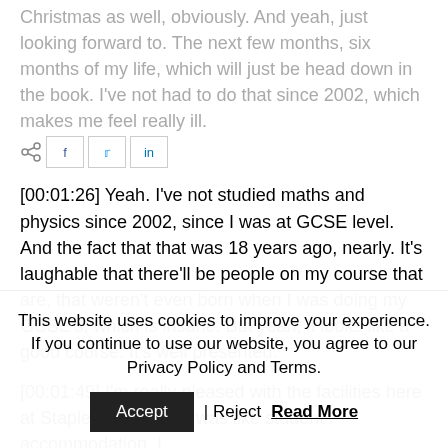Christmas as well, obviously. And yeah, just looking forward to. The next few months, six months of my life, which will just be head down in the book. I've not had to do that since 2002, which makes me feel really ill.
[00:01:26] Yeah. I've not studied maths and physics since 2002, since I was at GCSE level. And the fact that that was 18 years ago, nearly. It's laughable that there'll be people on my course that are, that weren't even born when I was doing my GCSE's, which is insane. But yeah, it looks like a good course. It's well presented.
[00:01:49] I'm really pleased with the facilities here at Stapleford. I had, it was like student accommodation. I
This website uses cookies to improve your experience. If you continue to use our website, you agree to our Privacy Policy and Terms.